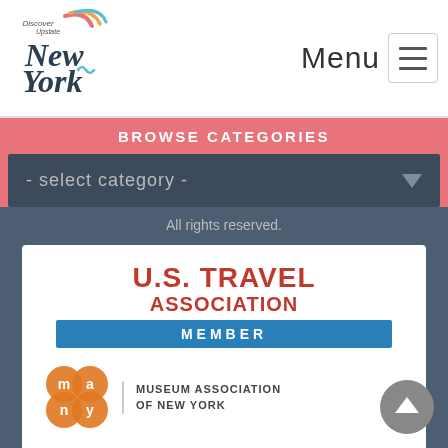Discover Upstate New York - Menu
BROWSE CATEGORIES
- select category -
All rights reserved.
[Figure (logo): U.S. Travel Association Member logo, Museum Association of New York logo, New York State Tourism Industry Association logo]